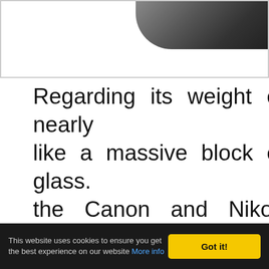[Figure (photo): Partial view of a camera lens, dark rounded object visible in upper right corner, white background with border frame]
Regarding its weight of nearly like a massive block of glass. the Canon and Nikon counte size-league. Upon closer insp the lens is not an all-metal co the lens hood are made of m parts of the outer body. Plas
This website uses cookies to ensure you get the best experience on our website More info
Got it!